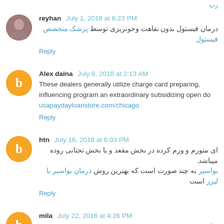رپ
reyhan  July 1, 2018 at 6:23 PM
درمان فیستول بدون نفاهت وخونریزی توسط پزشک متخصص فیستول
Reply
Alex daina  July 8, 2018 at 2:13 AM
These dealers generally utilize charge card preparing, influencing program an extraordinary subsidizing open do... usapaydayloanstore.com/chicago
Reply
htn  July 16, 2018 at 6:03 PM
ای متورم و ورم کرده در بخش مقعد و یا بخش تحتانی روده میباشد.
بواسیر به چند صورت است که بهترین روش درمان بواسیر با لیزر است
Reply
mila  July 22, 2018 at 4:26 PM
بواسیر